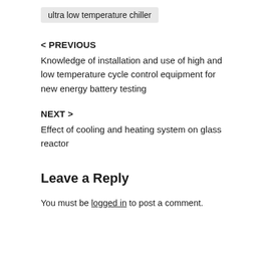ultra low temperature chiller
< PREVIOUS
Knowledge of installation and use of high and low temperature cycle control equipment for new energy battery testing
NEXT >
Effect of cooling and heating system on glass reactor
Leave a Reply
You must be logged in to post a comment.